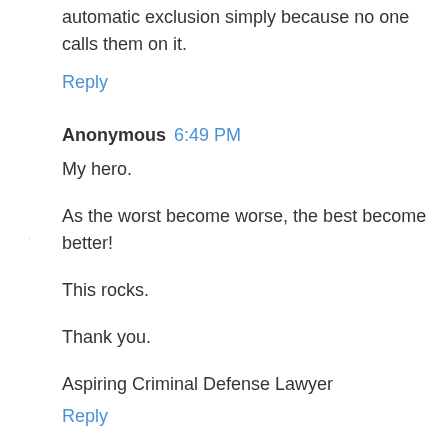automatic exclusion simply because no one calls them on it.
Reply
Anonymous 6:49 PM
My hero.
As the worst become worse, the best become better!
This rocks.
Thank you.
Aspiring Criminal Defense Lawyer
Reply
Anonymous 11:00 PM
It's fear, Brian. Fear of my client not getting a bond because